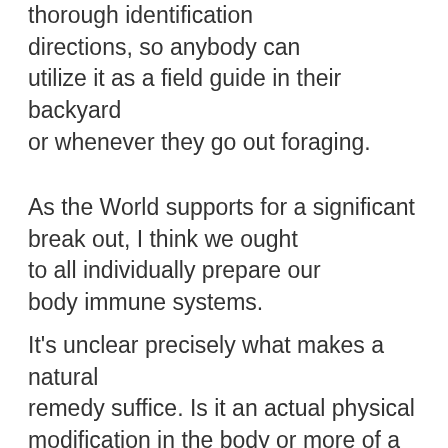thorough identification directions, so anybody can utilize it as a field guide in their backyard or whenever they go out foraging.
As the World supports for a significant break out, I think we ought to all individually prepare our body immune systems.
It's unclear precisely what makes a natural remedy suffice. Is it an actual physical modification in the body or more of a placebo impact? Luckily, in current decades, researchers have actually been asking the same questions in a laboratory, and are